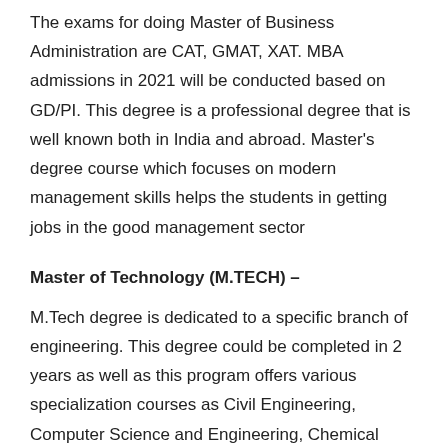The exams for doing Master of Business Administration are CAT, GMAT, XAT. MBA admissions in 2021 will be conducted based on GD/PI. This degree is a professional degree that is well known both in India and abroad. Master's degree course which focuses on modern management skills helps the students in getting jobs in the good management sector
Master of Technology (M.TECH) –
M.Tech degree is dedicated to a specific branch of engineering. This degree could be completed in 2 years as well as this program offers various specialization courses as Civil Engineering, Computer Science and Engineering, Chemical Engineering, Electrical Engineering, Mechanical Engineering, Electronics, and Communication Engineering, etc.